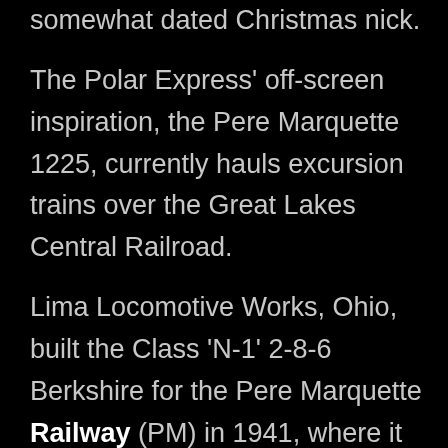somewhat dated Christmas nick.
The Polar Express' off-screen inspiration, the Pere Marquette 1225, currently hauls excursion trains over the Great Lakes Central Railroad.
Lima Locomotive Works, Ohio, built the Class 'N-1' 2-8-6 Berkshire for the Pere Marquette Railway (PM) in 1941, where it remained in regular service for a time until its restoration in the early 1970s.
In 2002, Warner Brothers bought the